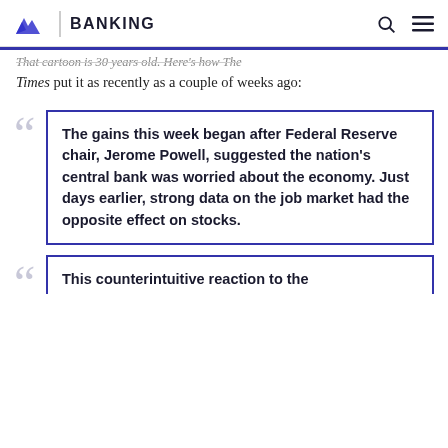BANKING
That cartoon is 30 years old. Here's how The Times put it as recently as a couple of weeks ago:
The gains this week began after Federal Reserve chair, Jerome Powell, suggested the nation's central bank was worried about the economy. Just days earlier, strong data on the job market had the opposite effect on stocks.
This counterintuitive reaction to the...